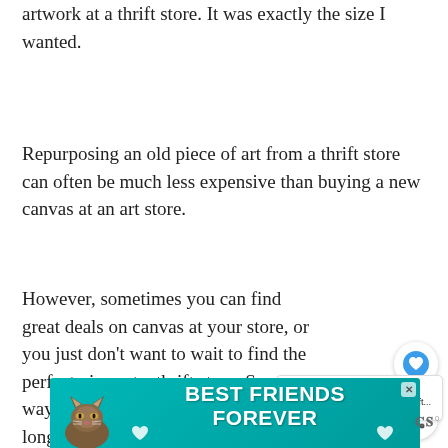artwork at a thrift store. It was exactly the size I wanted.
Repurposing an old piece of art from a thrift store can often be much less expensive than buying a new canvas at an art store.
However, sometimes you can find great deals on canvas at your store, or you just don't want to wait to find the perfect piece at a thrift store. So either way is still going to cost less in the long run.
[Figure (screenshot): UI overlay with heart (like) button and share button, plus a 'What's Next' recommendation box showing 'Clever Dollar Tree Craft...' with a thumbnail image]
[Figure (photo): Advertisement banner with teal/cyan background showing a cat on the left and text 'BEST FRIENDS FOREVER' in white bold letters with heart icons, plus a close button and a logo on the right]